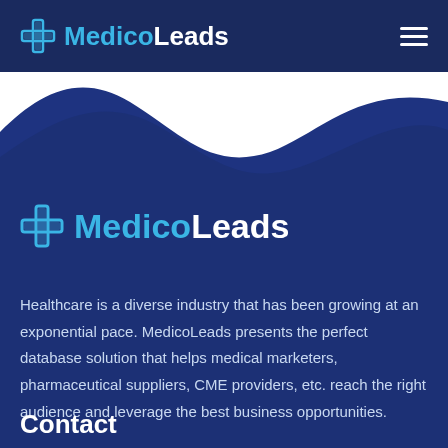MedicoLeads
[Figure (logo): MedicoLeads logo with medical cross icon, text 'Medico' in light blue and 'Leads' in white on dark navy background]
Healthcare is a diverse industry that has been growing at an exponential pace. MedicoLeads presents the perfect database solution that helps medical marketers, pharmaceutical suppliers, CME providers, etc. reach the right audience and leverage the best business opportunities.
Contact